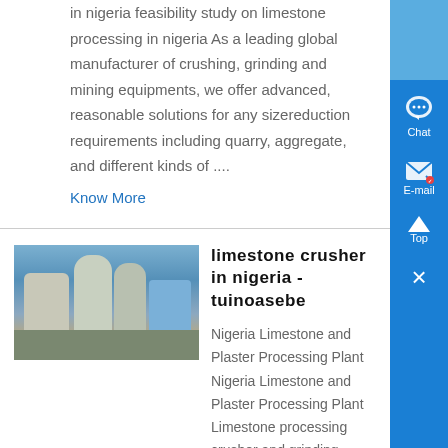in nigeria feasibility study on limestone processing in nigeria As a leading global manufacturer of crushing, grinding and mining equipments, we offer advanced, reasonable solutions for any sizereduction requirements including quarry, aggregate, and different kinds of ....
Know More
[Figure (photo): Industrial plant with large cylindrical silos/tanks and a building, blue structural elements visible]
limestone crusher in nigeria - tuinoasebe
Nigeria Limestone and Plaster Processing Plant Nigeria Limestone and Plaster Processing Plant Limestone processing crusher and grinding machine is widely used in Nigeria plaster processing production line SBM